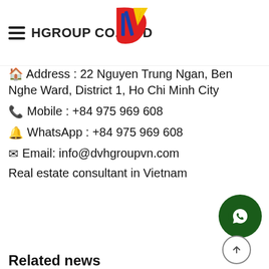HGROUP CO., LTD DVH Group
[Figure (logo): DVH Group logo with red and yellow D shape and blue V, text DVH Group below]
Address : 22 Nguyen Trung Ngan, Ben Nghe Ward, District 1, Ho Chi Minh City
Mobile : +84 975 969 608
WhatsApp : +84 975 969 608
Email: info@dvhgroupvn.com
Real estate consultant in Vietnam
Related news